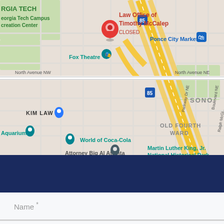[Figure (map): Google Maps screenshot showing Atlanta area around Georgia Tech and Old Fourth Ward. A red pin marks 'Law Office of Timothy McCalep - CLOSED'. Notable landmarks visible include Fox Theatre, Ponce City Market, World of Coca-Cola, Martin Luther King Jr. National Historical Park, Kim Law, Attorney Big Al Atlanta, and Georgia Aquarium. Interstate 85 is visible running diagonally.]
Name *
Phone